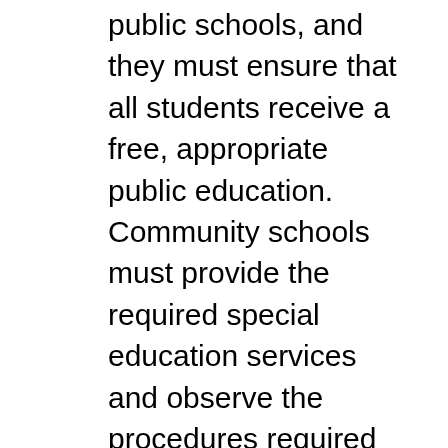public schools, and they must ensure that all students receive a free, appropriate public education. Community schools must provide the required special education services and observe the procedures required under both federal and state law. If you as a founder of a community school do not have a strong background in education, it is imperative that you enlist the assistance of someone who fully understands the special education responsibilities to comply with all state and federal statutes, rules, and regulations. The Office of Exceptional Children and Office of Community Schools provide training, technical assistance, and monitoring to community schools. In addition, ESC of Lake Erie West has designated a special education consultant to